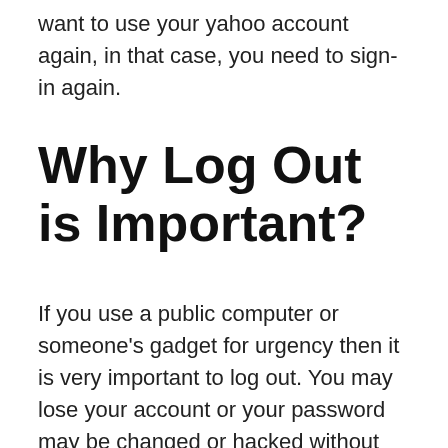want to use your yahoo account again, in that case, you need to sign-in again.
Why Log Out is Important?
If you use a public computer or someone’s gadget for urgency then it is very important to log out. You may lose your account or your password may be changed or hacked without